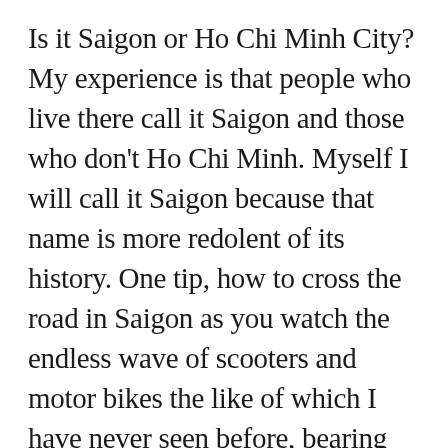Is it Saigon or Ho Chi Minh City? My experience is that people who live there call it Saigon and those who don't Ho Chi Minh. Myself I will call it Saigon because that name is more redolent of its history. One tip, how to cross the road in Saigon as you watch the endless wave of scooters and motor bikes the like of which I have never seen before, bearing down on you. At first you are stuck at the side of the road wondering how you will ever cross, but watch the Vietnamese and then you realise that the secret is just to step off the